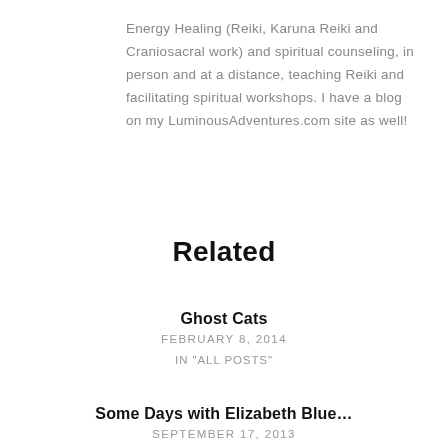Energy Healing (Reiki, Karuna Reiki and Craniosacral work) and spiritual counseling, in person and at a distance, teaching Reiki and facilitating spiritual workshops. I have a blog on my LuminousAdventures.com site as well!
Related
Ghost Cats
FEBRUARY 8, 2014
IN "ALL POSTS"
Some Days with Elizabeth Blue...
SEPTEMBER 17, 2013
IN "ALL POSTS"